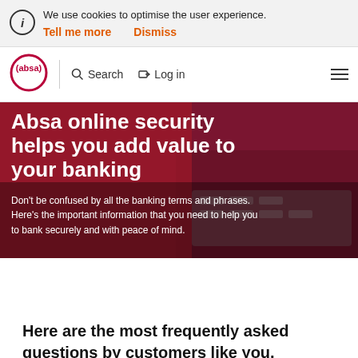We use cookies to optimise the user experience. Tell me more   Dismiss
[Figure (logo): Absa bank logo - circular red logo with 'absa' text in brackets]
Search   Log in
[Figure (photo): Hero banner showing person typing on laptop keyboard with red clothing, dark overlay. Title: Absa online security helps you add value to your banking. Subtitle: Don't be confused by all the banking terms and phrases. Here's the important information that you need to help you to bank securely and with peace of mind.]
Absa online security helps you add value to your banking
Don't be confused by all the banking terms and phrases. Here's the important information that you need to help you to bank securely and with peace of mind.
Here are the most frequently asked questions by customers like you.